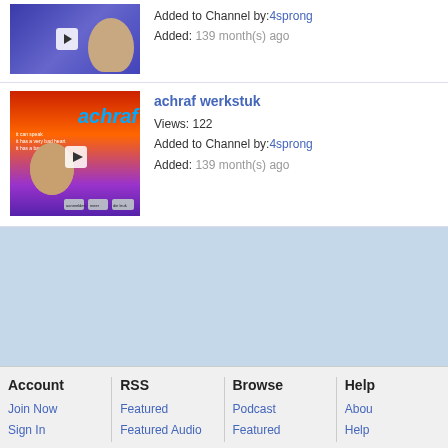[Figure (screenshot): Video thumbnail showing a child's face on blue background with play button]
Added to Channel by:4sprong
Added: 139 month(s) ago
[Figure (screenshot): Video thumbnail for 'achraf werkstuk' showing colorful background with achraf text and child's face]
achraf werkstuk
Views: 122
Added to Channel by:4sprong
Added: 139 month(s) ago
[Figure (screenshot): Light blue background area (content/ad region)]
Account
Join Now
Sign In
RSS
Featured
Featured Audio
Browse
Podcast
Featured
Help
About
Help